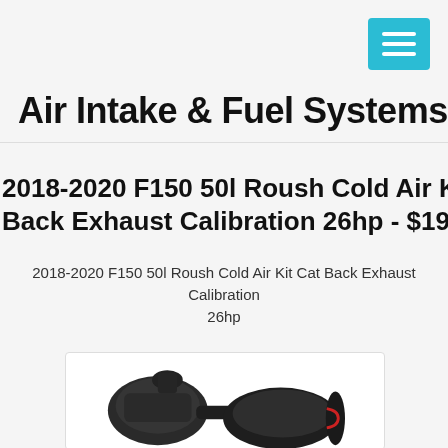Air Intake & Fuel Systems
2018-2020 F150 50l Roush Cold Air Kit Cat Back Exhaust Calibration 26hp - $1907.99
2018-2020 F150 50l Roush Cold Air Kit Cat Back Exhaust Calibration 26hp
[Figure (photo): Roush cold air intake kit with filter and components shown on white background]